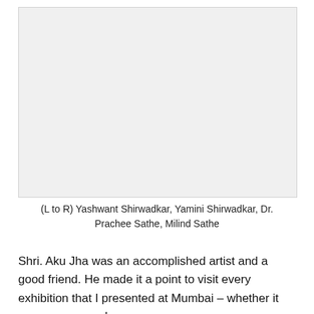[Figure (photo): A photograph showing (L to R) Yashwant Shirwadkar, Yamini Shirwadkar, Dr. Prachee Sathe, Milind Sathe]
(L to R) Yashwant Shirwadkar, Yamini Shirwadkar, Dr. Prachee Sathe, Milind Sathe
Shri. Aku Jha was an accomplished artist and a good friend. He made it a point to visit every exhibition that I presented at Mumbai – whether it was my personal